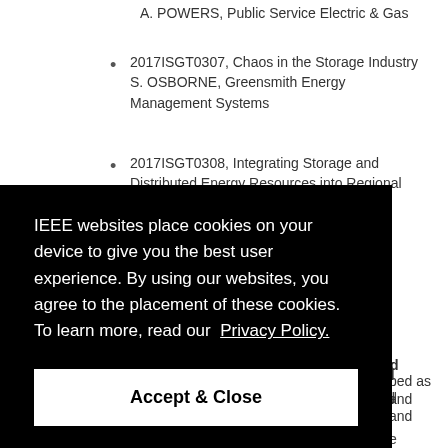A. POWERS, Public Service Electric & Gas
2017ISGT0307, Chaos in the Storage Industry
S. OSBORNE, Greensmith Energy Management Systems
2017ISGT0308, Integrating Storage and Distributed Energy Resources into Regional
[Figure (screenshot): IEEE cookie consent overlay with text: 'IEEE websites place cookies on your device to give you the best user experience. By using our websites, you agree to the placement of these cookies. To learn more, read our Privacy Policy.' and an 'Accept & Close' button]
closely interacting to sense and respond to the